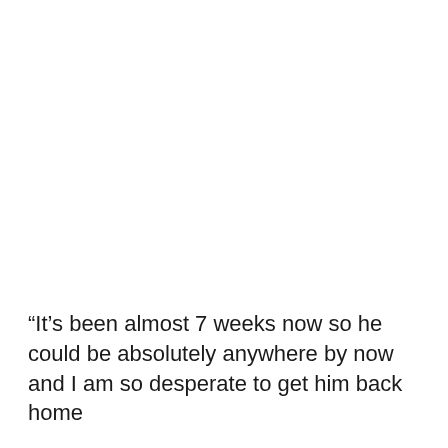“It’s been almost 7 weeks now so he could be absolutely anywhere by now and I am so desperate to get him back home